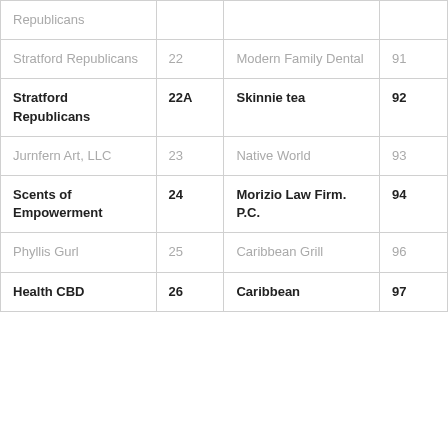| Republicans |  |  |  |
| Stratford Republicans | 22 | Modern Family Dental | 91 |
| Stratford Republicans | 22A | Skinnie tea | 92 |
| Jurnfern Art, LLC | 23 | Native World | 93 |
| Scents of Empowerment | 24 | Morizio Law Firm. P.C. | 94 |
| Phyllis Gurl | 25 | Caribbean Grill | 96 |
| Health CBD | 26 | Caribbean | 97 |